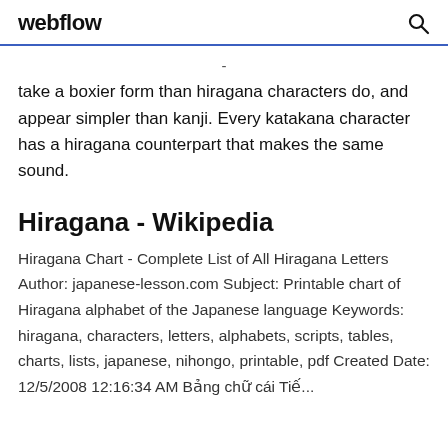webflow
take a boxier form than hiragana characters do, and appear simpler than kanji. Every katakana character has a hiragana counterpart that makes the same sound.
Hiragana - Wikipedia
Hiragana Chart - Complete List of All Hiragana Letters Author: japanese-lesson.com Subject: Printable chart of Hiragana alphabet of the Japanese language Keywords: hiragana, characters, letters, alphabets, scripts, tables, charts, lists, japanese, nihongo, printable, pdf Created Date: 12/5/2008 12:16:34 AM Bảng chữ cái Tiếng Nhật Hiragana Katakana Kanji Tiế...